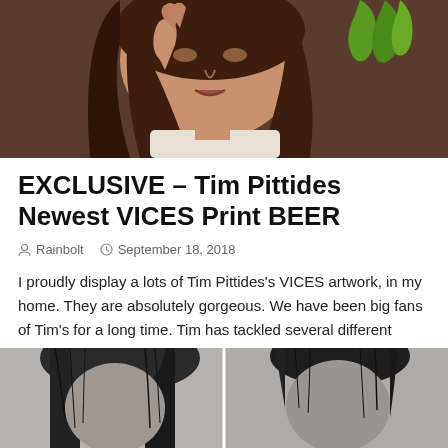[Figure (illustration): Painting of a woman with long brown hair holding her hand up, with green peppers visible in the upper right corner, warm brownish background.]
EXCLUSIVE – Tim Pittides Newest VICES Print BEER
Rainbolt   September 18, 2018
I proudly display a lots of Tim Pittides's VICES artwork, in my home. They are absolutely gorgeous. We have been big fans of Tim's for a long time. Tim has tackled several different vices, including Coffee, Wine, Marihuana, Opium and Cocaine to name a few. With much anticipation, he finally presents one of my favorite [...]
READMORE →
[Figure (illustration): Black and white paintings of two people with dark hair, cropped at bottom of page.]